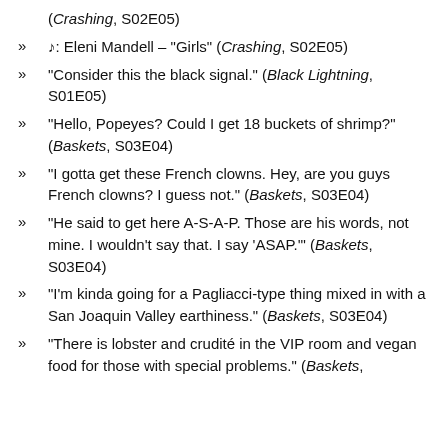(Crashing, S02E05)
♪: Eleni Mandell – "Girls" (Crashing, S02E05)
"Consider this the black signal." (Black Lightning, S01E05)
"Hello, Popeyes? Could I get 18 buckets of shrimp?" (Baskets, S03E04)
"I gotta get these French clowns. Hey, are you guys French clowns? I guess not." (Baskets, S03E04)
"He said to get here A-S-A-P. Those are his words, not mine. I wouldn't say that. I say 'ASAP.'" (Baskets, S03E04)
"I'm kinda going for a Pagliacci-type thing mixed in with a San Joaquin Valley earthiness." (Baskets, S03E04)
"There is lobster and crudité in the VIP room and vegan food for those with special problems." (Baskets,